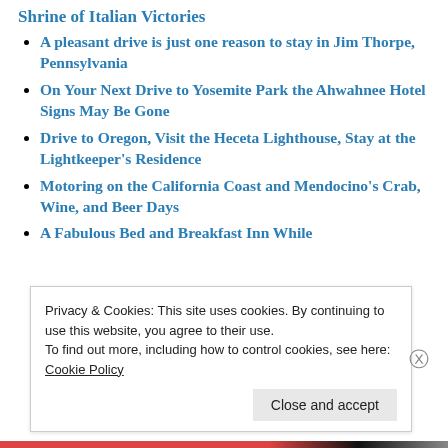A pleasant drive is just one reason to stay in Jim Thorpe, Pennsylvania
On Your Next Drive to Yosemite Park the Ahwahnee Hotel Signs May Be Gone
Drive to Oregon, Visit the Heceta Lighthouse, Stay at the Lightkeeper's Residence
Motoring on the California Coast and Mendocino's Crab, Wine, and Beer Days
A Fabulous Bed and Breakfast Inn While
Privacy & Cookies: This site uses cookies. By continuing to use this website, you agree to their use.
To find out more, including how to control cookies, see here:
Cookie Policy
Close and accept